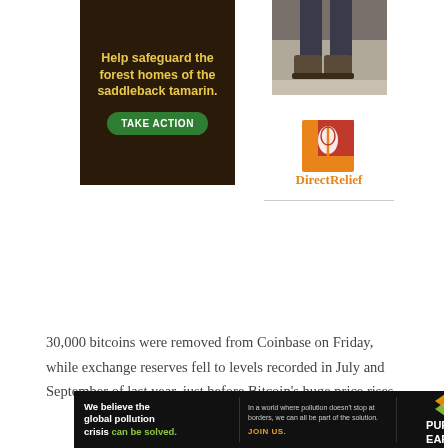[Figure (illustration): Advertisement for saddleback tamarin forest conservation with dark background, yellow text 'Help safeguard the forest homes of the saddleback tamarin.' and green 'TAKE ACTION' button]
[Figure (photo): Photo of person's feet/boots walking on ground]
[Figure (logo): Direct Relief charity logo with orange/red square graphic and orange text 'DirectRelief']
30,000 bitcoins were removed from Coinbase on Friday, while exchange reserves fell to levels recorded in July and September of last year, just before Bitcoin's huge price rises.
[Figure (illustration): Pure Earth advertisement with black background. Left: white bold text 'We believe the global pollution crisis can be solved.' with 'can be solved.' in green. Middle: grey text 'In a world where pollution doesn't stop at borders, we can all be part of the solution.' and orange 'JOIN US.' Right: Pure Earth logo diamond shape with 'PURE EARTH' in white text.]